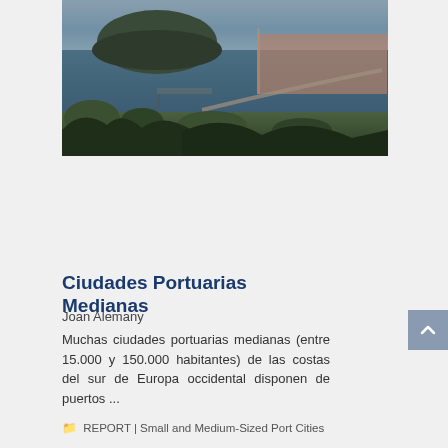[Figure (photo): Aerial/elevated view of a coastal port city with a bay, harbor, pier, and hillside island in the background under overcast skies]
Ciudades Portuarias Medianas
Joan Alemany
Muchas ciudades portuarias medianas (entre 15.000 y 150.000 habitantes) de las costas del sur de Europa occidental disponen de puertos ...
REPORT | Small and Medium-Sized Port Cities